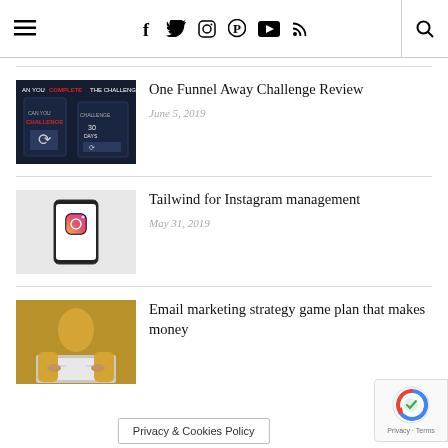≡  f  🐦  📷  𝗣  ▶  ))) 🔍
[Figure (photo): Thumbnail for One Funnel Away Challenge Review article – dark blue book covers with red text]
One Funnel Away Challenge Review
June 5, 2019
[Figure (photo): Thumbnail for Tailwind for Instagram management – phone with Instagram logo on white background]
Tailwind for Instagram management
May 31, 2019
[Figure (photo): Thumbnail for Email marketing strategy article – person in yellow sweater typing on laptop]
Email marketing strategy game plan that makes money
Privacy & Cookies Policy